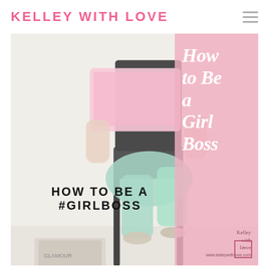KELLEY WITH LOVE
[Figure (photo): Blog post header image showing a woman sitting in a chair with a pink laptop, wearing mint green pants. A pink overlay panel on the right side contains italic serif text reading 'How to Be a Girl Boss'. Bold uppercase text overlay reads 'HOW TO BE A #GIRLBOSS'. Website branding 'Kelley with Love' appears in the bottom right corner of the pink panel with URL. A back-to-top arrow button is visible.]
HOW TO BE A #GIRLBOSS